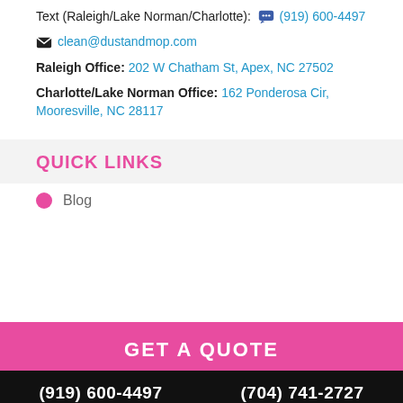Text (Raleigh/Lake Norman/Charlotte): (919) 600-4497
clean@dustandmop.com
Raleigh Office: 202 W Chatham St, Apex, NC 27502
Charlotte/Lake Norman Office: 162 Ponderosa Cir, Mooresville, NC 28117
QUICK LINKS
Blog
GET A QUOTE
(919) 600-4497   (704) 741-2727